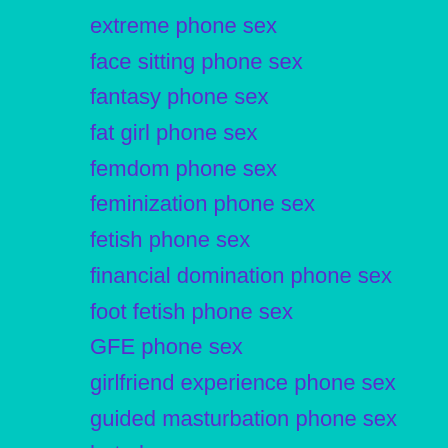extreme phone sex
face sitting phone sex
fantasy phone sex
fat girl phone sex
femdom phone sex
feminization phone sex
fetish phone sex
financial domination phone sex
foot fetish phone sex
GFE phone sex
girlfriend experience phone sex
guided masturbation phone sex
hot phone sex
humiliation phone sex
hypnosis phone sex